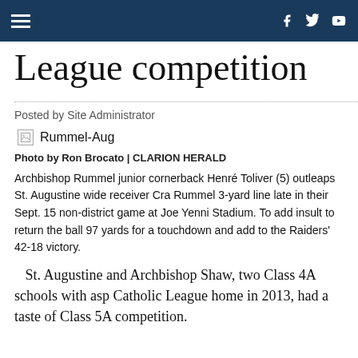Navigation header with hamburger menu and social icons (Facebook, Twitter, YouTube)
League competition
Posted by Site Administrator
[Figure (photo): Broken image placeholder labeled Rummel-Aug]
Photo by Ron Brocato | CLARION HERALD
Archbishop Rummel junior cornerback Henré Toliver (5) outleaps St. Augustine wide receiver Cra Rummel 3-yard line late in their Sept. 15 non-district game at Joe Yenni Stadium. To add insult to return the ball 97 yards for a touchdown and add to the Raiders' 42-18 victory.
St. Augustine and Archbishop Shaw, two Class 4A schools with asp Catholic League home in 2013, had a taste of Class 5A competition.